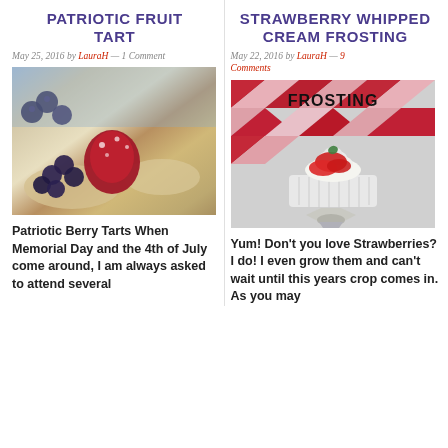PATRIOTIC FRUIT TART
May 25, 2016 by LauraH — 1 Comment
[Figure (photo): Patriotic berry tarts with blueberries and raspberries dusted with powdered sugar in pastry cups]
Patriotic Berry Tarts When Memorial Day and the 4th of July come around, I am always asked to attend several
STRAWBERRY WHIPPED CREAM FROSTING
May 22, 2016 by LauraH — 9 Comments
[Figure (photo): Strawberry whipped cream frosting in a white ramekin with sliced strawberries on top and a piping bag tip, with red geometric triangle background. Text overlay: Frosting]
Yum! Don't you love Strawberries? I do! I even grow them and can't wait until this years crop comes in. As you may